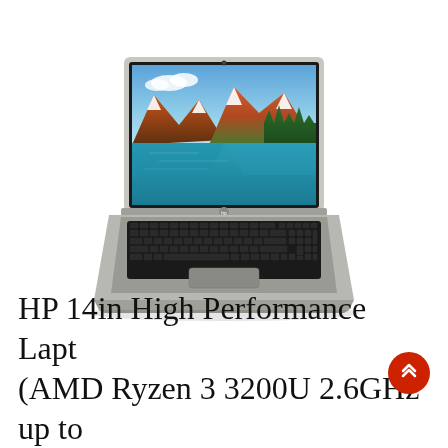[Figure (photo): HP 14-inch laptop open, showing a scenic mountain lake wallpaper on screen, silver/gray body with black keyboard, viewed from slightly above front angle]
HP 14in High Performance Laptop (AMD Ryzen 3 3200U 2.6GHz up to